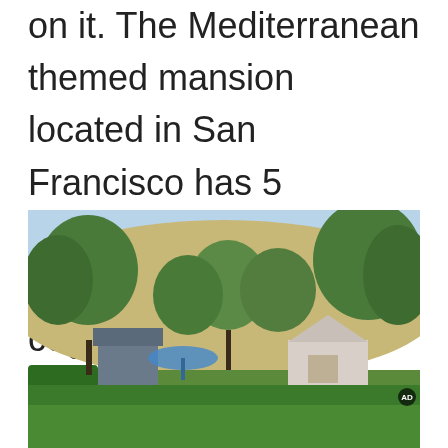on it. The Mediterranean themed mansion located in San Francisco has 5 bedrooms, 6 baths, a wine cellar, a gym, a cognac room, and a game room.
[Figure (photo): Exterior photo of a residential property surrounded by lush green trees and hedges, with a hillside in the background under a blue sky. A white house with a distinctive conical roof is visible on the right side. An advertisement overlay appears at the bottom of the image with search results for real estate.]